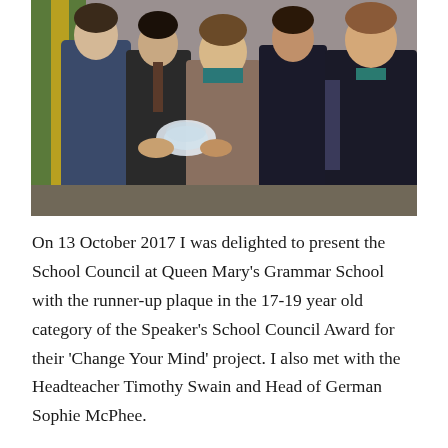[Figure (photo): Group photo of five people standing together holding a glass plaque/trophy. They are in a formal indoor setting with a green and yellow banner in the background. From left: a person in a blue uniform with scout-like badges, a person in a dark suit with a striped tie, a woman in a tweed/patterned dress in the center, a person in a dark suit, and a woman in a dark blazer on the right.]
On 13 October 2017 I was delighted to present the School Council at Queen Mary's Grammar School with the runner-up plaque in the 17-19 year old category of the Speaker's School Council Award for their 'Change Your Mind' project. I also met with the Headteacher Timothy Swain and Head of German Sophie McPhee.